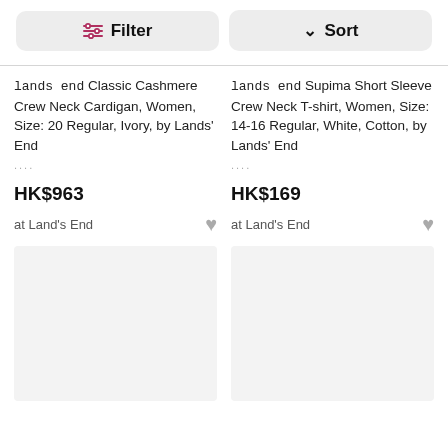[Figure (screenshot): Filter button with icon on left side of top bar]
[Figure (screenshot): Sort button with chevron icon on right side of top bar]
lands end Classic Cashmere Crew Neck Cardigan, Women, Size: 20 Regular, Ivory, by Lands' End ...
HK$963
at Land's End
lands end Supima Short Sleeve Crew Neck T-shirt, Women, Size: 14-16 Regular, White, Cotton, by Lands' End ...
HK$169
at Land's End